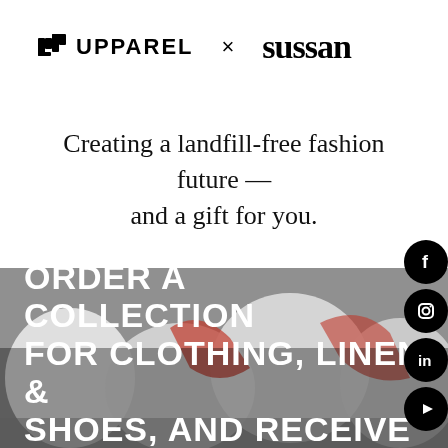[Figure (logo): UPPAREL logo (icon + wordmark) × sussan logo side by side]
Creating a landfill-free fashion future — and a gift for you.
[Figure (photo): Photograph of white laundry/collection bags filled with clothing items, with red and multicolored garments visible. Overlaid with bold white uppercase text: ORDER A COLLECTION FOR CLOTHING, LINEN & SHOES, AND RECEIVE]
ORDER A COLLECTION FOR CLOTHING, LINEN & SHOES, AND RECEIVE